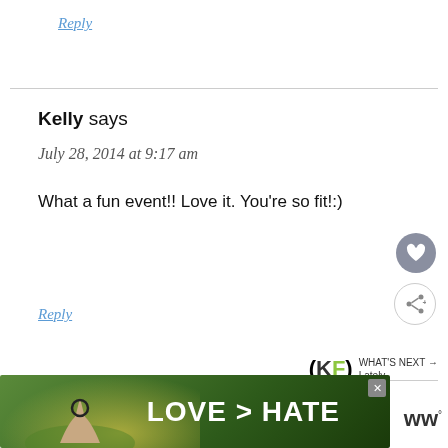Reply
Kelly says
July 28, 2014 at 9:17 am
What a fun event!! Love it. You're so fit!:)
Reply
[Figure (screenshot): Advertisement banner showing hands forming a heart shape with text LOVE > HATE on a green background, with a close button and WW logo]
[Figure (infographic): KF widget showing WHAT'S NEXT → Lately]